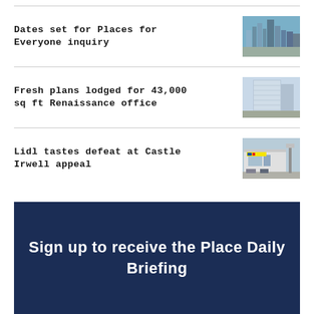Dates set for Places for Everyone inquiry
[Figure (photo): Aerial city skyline view with tall buildings]
Fresh plans lodged for 43,000 sq ft Renaissance office
[Figure (photo): Modern glass office building rendering]
Lidl tastes defeat at Castle Irwell appeal
[Figure (photo): Exterior of a Lidl store with car park]
Sign up to receive the Place Daily Briefing